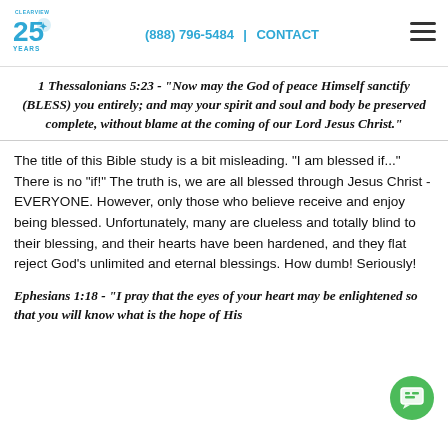CLEARVIEW 25 YEARS | (888) 796-5484 | CONTACT
1 Thessalonians 5:23 - "Now may the God of peace Himself sanctify (BLESS) you entirely; and may your spirit and soul and body be preserved complete, without blame at the coming of our Lord Jesus Christ."
The title of this Bible study is a bit misleading. "I am blessed if..." There is no "if!" The truth is, we are all blessed through Jesus Christ - EVERYONE. However, only those who believe receive and enjoy being blessed. Unfortunately, many are clueless and totally blind to their blessing, and their hearts have been hardened, and they flat reject God's unlimited and eternal blessings. How dumb! Seriously!
Ephesians 1:18 - "I pray that the eyes of your heart may be enlightened so that you will know what is the hope of His